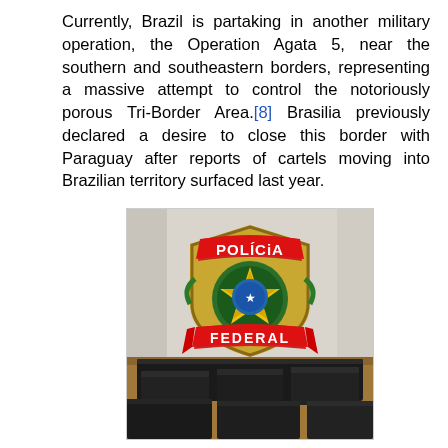Currently, Brazil is partaking in another military operation, the Operation Agata 5, near the southern and southeastern borders, representing a massive attempt to control the notoriously porous Tri-Border Area.[8] Brasilia previously declared a desire to close this border with Paraguay after reports of cartels moving into Brazilian territory surfaced last year.
[Figure (photo): Photo of a Polícia Federal (Brazilian Federal Police) badge/shield mounted on a wall above several dark-colored rectangular packages (likely seized contraband/drugs) on a wooden surface.]